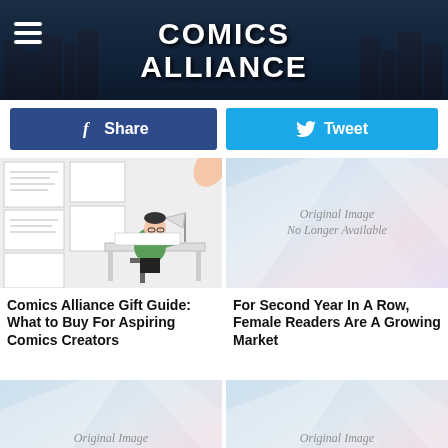Comics Alliance
Share
Tweet
[Figure (illustration): Comic-style illustration of a person drawing at a drafting table with comic panels in the background]
Comics Alliance Gift Guide: What to Buy For Aspiring Comics Creators
[Figure (photo): Original Image No Longer Available placeholder]
For Second Year In A Row, Female Readers Are A Growing Market
[Figure (photo): Original Image No Longer Available placeholder]
[Figure (photo): Original Image No Longer Available placeholder]